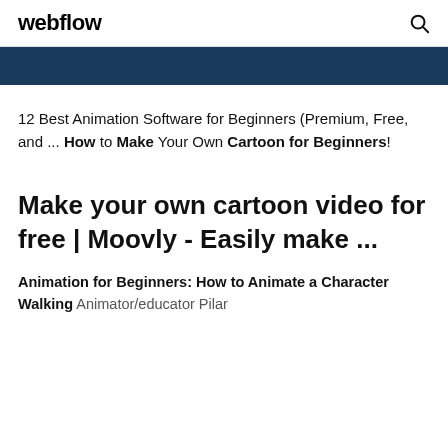webflow
[Figure (other): Dark blue navigation bar strip]
12 Best Animation Software for Beginners (Premium, Free, and ... How to Make Your Own Cartoon for Beginners!
Make your own cartoon video for free | Moovly - Easily make ...
Animation for Beginners: How to Animate a Character Walking Animator/educator Pilar